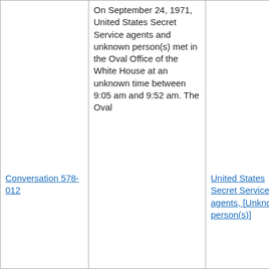|  |  |  |
| --- | --- | --- |
| Conversation 578-012 | On September 24, 1971, United States Secret Service agents and unknown person(s) met in the Oval Office of the White House at an unknown time between 9:05 am and 9:52 am. The Oval | United States Secret Service agents, [Unknown person(s)] |